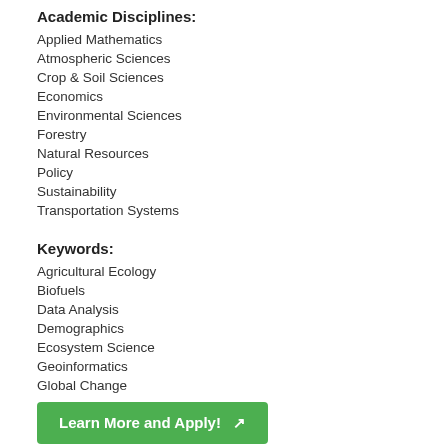Academic Disciplines:
Applied Mathematics
Atmospheric Sciences
Crop & Soil Sciences
Economics
Environmental Sciences
Forestry
Natural Resources
Policy
Sustainability
Transportation Systems
Keywords:
Agricultural Ecology
Biofuels
Data Analysis
Demographics
Ecosystem Science
Geoinformatics
Global Change
Learn More and Apply!